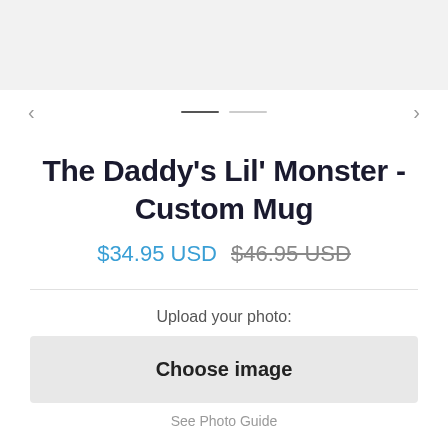[Figure (other): Gray top bar background area]
[Figure (other): Navigation row with left arrow, two horizontal dash indicators, and right arrow]
The Daddy's Lil' Monster - Custom Mug
$34.95 USD  $46.95 USD (strikethrough)
Upload your photo:
Choose image
See Photo Guide